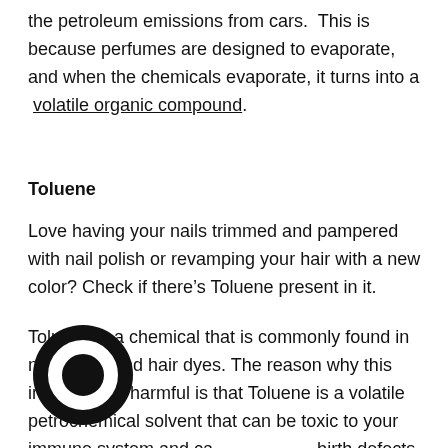the petroleum emissions from cars. This is because perfumes are designed to evaporate, and when the chemicals evaporate, it turns into a volatile organic compound.
Toluene
Love having your nails trimmed and pampered with nail polish or revamping your hair with a new color? Check if there’s Toluene present in it.
Toluene is a chemical that is commonly found in nail polish and hair dyes. The reason why this ingredient is harmful is that Toluene is a volatile petrochemical solvent that can be toxic to your immune system and cause birth defects. Toluene is also used in paints, lacquers, inks, adhesives, rubber, and cleaning agents.